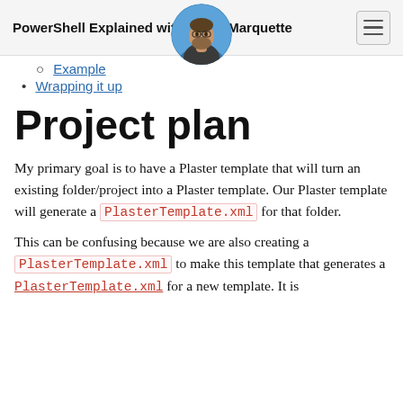PowerShell Explained with Kevin Marquette
Example
Wrapping it up
Project plan
My primary goal is to have a Plaster template that will turn an existing folder/project into a Plaster template. Our Plaster template will generate a PlasterTemplate.xml for that folder.
This can be confusing because we are also creating a PlasterTemplate.xml to make this template that generates a PlasterTemplate.xml for a new template. It is